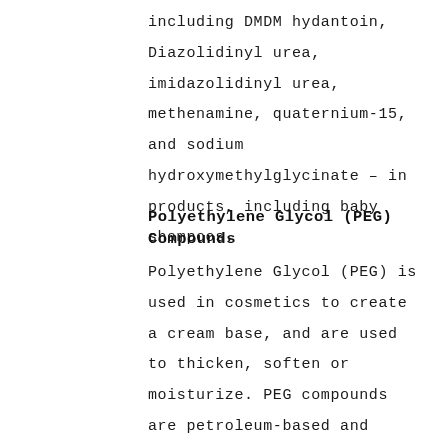including DMDM hydantoin, Diazolidinyl urea, imidazolidinyl urea, methenamine, quaternium-15, and sodium hydroxymethylglycinate – in products, including baby shampoos.
Polyethylene Glycol (PEG) Compounds
Polyethylene Glycol (PEG) is used in cosmetics to create a cream base, and are used to thicken, soften or moisturize. PEG compounds are petroleum-based and include propylene glycol, polyethylene glycols, and polyoxyethylene. There's